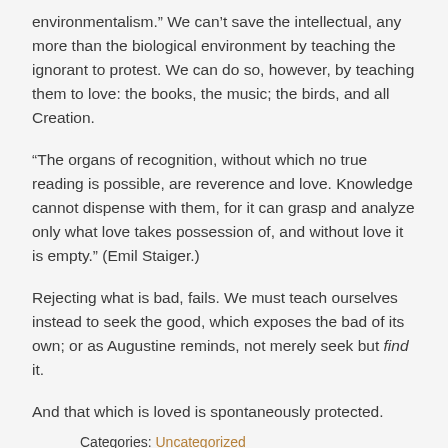environmentalism.” We can’t save the intellectual, any more than the biological environment by teaching the ignorant to protest. We can do so, however, by teaching them to love: the books, the music; the birds, and all Creation.
“The organs of recognition, without which no true reading is possible, are reverence and love. Knowledge cannot dispense with them, for it can grasp and analyze only what love takes possession of, and without love it is empty.” (Emil Staiger.)
Rejecting what is bad, fails. We must teach ourselves instead to seek the good, which exposes the bad of its own; or as Augustine reminds, not merely seek but find it.
And that which is loved is spontaneously protected.
Categories: Uncategorized